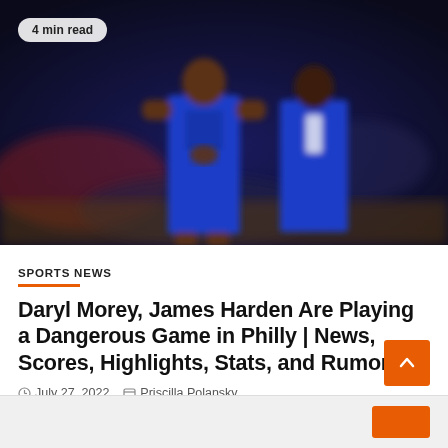[Figure (photo): Two basketball players in blue Philadelphia 76ers jerseys on a court, blurred background with crowd]
4 min read
SPORTS NEWS
Daryl Morey, James Harden Are Playing a Dangerous Game in Philly | News, Scores, Highlights, Stats, and Rumors
July 27, 2022   Priscilla Polansky